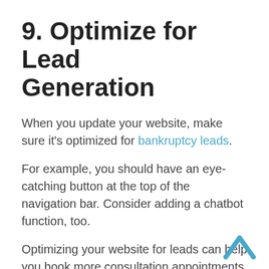9. Optimize for Lead Generation
When you update your website, make sure it's optimized for bankruptcy leads.
For example, you should have an eye-catching button at the top of the navigation bar. Consider adding a chatbot function, too.
Optimizing your website for leads can help you book more consultation appointments.
10. Keep Emailing
As you develop your law firm marketing strategy, don't neglect email marketing. Emails can keep